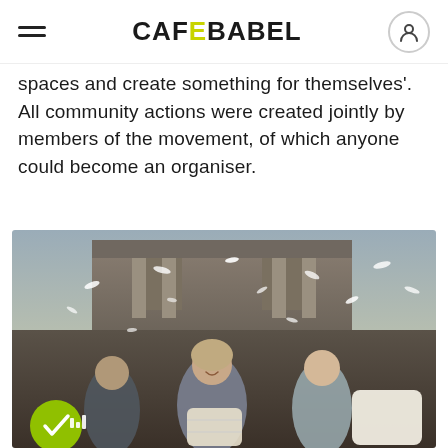CAFEBABEL
spaces and create something for themselves'. All community actions were created jointly by members of the movement, of which anyone could become an organiser.
[Figure (photo): A lively outdoor pillow fight scene with people smiling and feathers flying in the air, in front of an old stone building. A woman in the center is smiling broadly, holding a pillow. A green checkmark badge is visible in the lower left corner.]